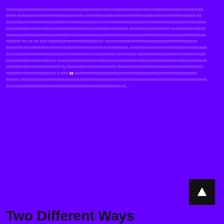[Thai script body text with number 38 visible]
Read More
Two Different Ways